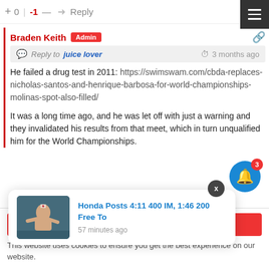+ 0 | -1 — → Reply
Braden Keith  Admin
Reply to juice lover  3 months ago
He failed a drug test in 2011: https://swimswam.com/cbda-replaces-nicholas-santos-and-henrique-barbosa-for-world-championships-molinas-spot-also-filled/

It was a long time ago, and he was let off with just a warning and they invalidated his results from that meet, which in turn unqualified him for the World Championships.
[Figure (screenshot): Notification popup showing article 'Honda Posts 4:11 400 IM, 1:46 200 Free To' with swimmer photo, posted 57 minutes ago]
ort, where every
an, and it's u
Got it
This website uses cookies to ensure you get the best experience on our website.